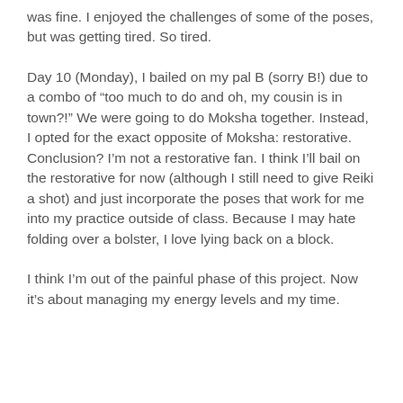was fine. I enjoyed the challenges of some of the poses, but was getting tired. So tired.
Day 10 (Monday), I bailed on my pal B (sorry B!) due to a combo of “too much to do and oh, my cousin is in town?!” We were going to do Moksha together. Instead, I opted for the exact opposite of Moksha: restorative. Conclusion? I’m not a restorative fan. I think I’ll bail on the restorative for now (although I still need to give Reiki a shot) and just incorporate the poses that work for me into my practice outside of class. Because I may hate folding over a bolster, I love lying back on a block.
I think I’m out of the painful phase of this project. Now it’s about managing my energy levels and my time.